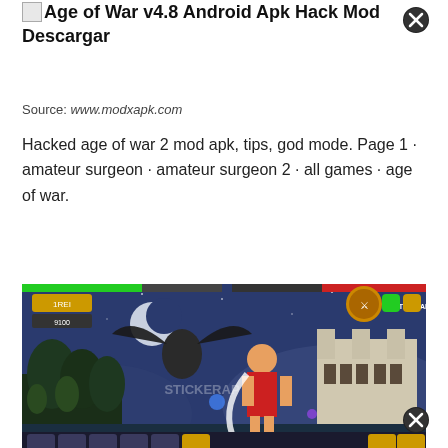Age of War v4.8 Android Apk Hack Mod Descargar
Source: www.modxapk.com
Hacked age of war 2 mod apk, tips, god mode. Page 1 · amateur surgeon · amateur surgeon 2 · all games · age of war.
[Figure (screenshot): Age of War game screenshot showing a warrior character fighting in a side-scrolling battle scene with a night sky background, castles, and various enemy creatures. Game UI shows character selection icons at bottom and STICKERAP branding.]
Source: www.youtube.com
In this game, you start at the cavern men's age, then evolve! Age of war 2